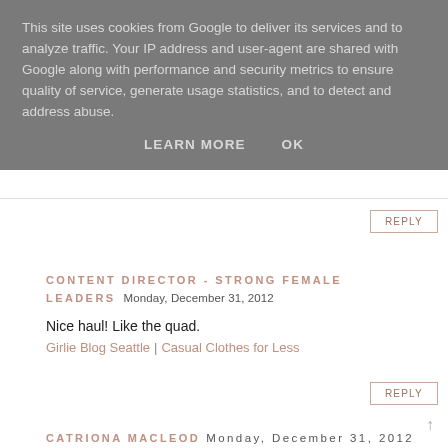This site uses cookies from Google to deliver its services and to analyze traffic. Your IP address and user-agent are shared with Google along with performance and security metrics to ensure quality of service, generate usage statistics, and to detect and address abuse.
LEARN MORE   OK
REPLY
CONTENT DIRECTOR - STRONG FEMALE LEADERS  Monday, December 31, 2012
Nice haul! Like the quad.
Girlie Blog Seattle | Casual Clothes for Less
REPLY
↑
CATRIONA MACLEOD  Monday, December 31, 2012